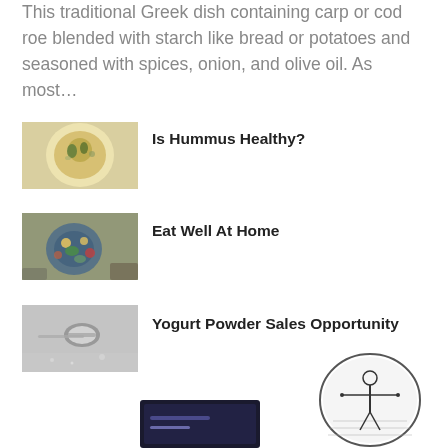This traditional Greek dish containing carp or cod roe blended with starch like bread or potatoes and seasoned with spices, onion, and olive oil. As most…
[Figure (photo): Top-down view of hummus in a white bowl with olive oil and herbs]
Is Hummus Healthy?
[Figure (photo): Top-down view of a blue bowl with salad, vegetables, eggs, and avocado on a wooden table]
Eat Well At Home
[Figure (photo): Grey-toned image of a spoon with white powder (yogurt powder) on a dark surface]
Yogurt Powder Sales Opportunity
[Figure (photo): Black and white oval illustration of a person standing in a field]
[Figure (photo): Partial view of a dark banner/logo at the bottom center]